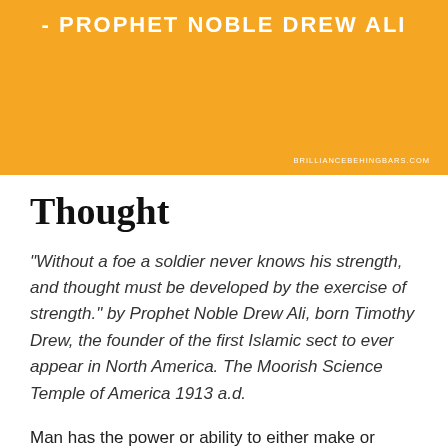- PROPHET NOBLE DREW ALI
BRILLIANCEBEHINDBAR S.COM
Thought
“Without a foe a soldier never knows his strength, and thought must be developed by the exercise of strength.” by Prophet Noble Drew Ali, born Timothy Drew, the founder of the first Islamic sect to ever appear in North America. The Moorish Science Temple of America 1913 a.d.
Man has the power or ability to either make or damage his future. Noble Drew Ali brought official Moorish literature for his people, which he said had a saving power. The instructions he brought is likened to tools and the mind is the